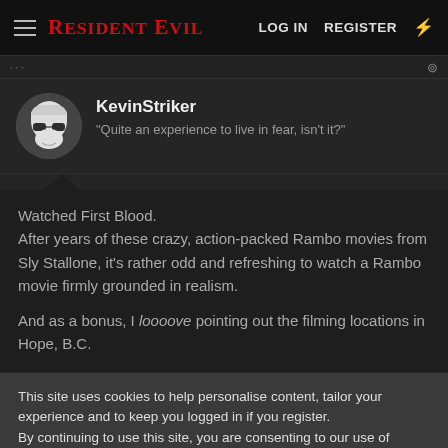RESIDENT EVIL — LOG IN  REGISTER
[Figure (screenshot): Resident Evil forum website screenshot showing navigation bar with hamburger menu, Resident Evil logo in red, LOG IN and REGISTER links, and a bolt icon.]
KevinStriker
"Quite an experience to live in fear, isn't it?"
Watched First Blood.
After years of these crazy, action-packed Rambo movies from Sly Stallone, it's rather odd and refreshing to watch a Rambo movie firmly grounded in realism.

And as a bonus, I loooove pointing out the filming locations in Hope, B.C.
This site uses cookies to help personalise content, tailor your experience and to keep you logged in if you register.
By continuing to use this site, you are consenting to our use of cookies.
✓ ACCEPT    LEARN MORE...